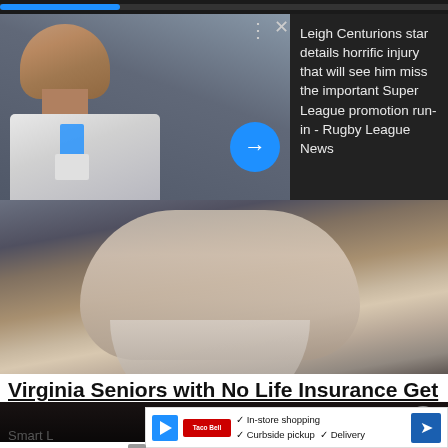[Figure (photo): Screenshot of a news notification/card overlay on a webpage. Top section shows a man in white shirt with lanyard looking over shoulder, with dark overlay on right showing news headline. Below is photo of older man with white beard in black shirt looking upward. Bottom shows ad content for Virginia Seniors life insurance article and a Google Maps-style ad overlay.]
Leigh Centurions star details horrific injury that will see him miss the important Super League promotion run-in - Rugby League News
Virginia Seniors with No Life Insurance Get
Smart L
In-store shopping   Curbside pickup   Delivery